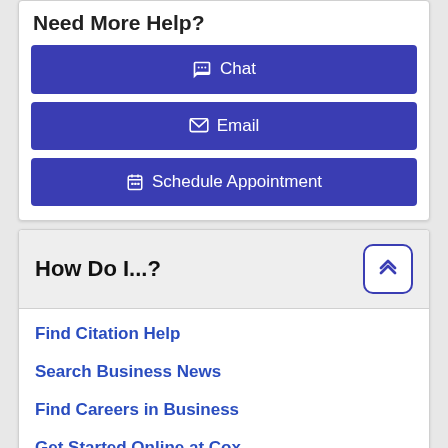Need More Help?
Chat
Email
Schedule Appointment
How Do I...?
Find Citation Help
Search Business News
Find Careers in Business
Get Started Online at Cox
Research Help by Course